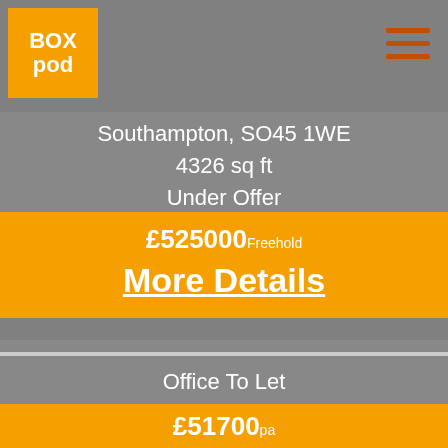BoxPod logo and navigation
Southampton, SO45 1WE
4326 sq ft
Under Offer
£525000 Freehold
More Details
Office To Let
Office Unit
Fareham, PO15 7AG
3129 sq ft
Available
£51700 pa